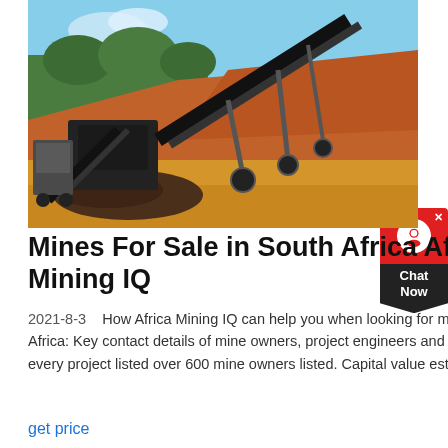[Figure (photo): Mining equipment with conveyor belts on an open excavation site with red-brown earth and trees in background]
Mines For Sale in South Africa Africa Mining IQ
2021-8-3   How Africa Mining IQ can help you when looking for mines for sale in South Africa: Key contact details of mine owners, project engineers and contracting agents for every project listed over 600 mine owners listed. Capital value estimates updated daily.
get price